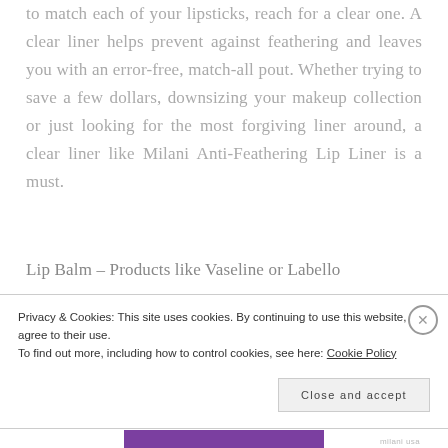to match each of your lipsticks, reach for a clear one. A clear liner helps prevent against feathering and leaves you with an error-free, match-all pout. Whether trying to save a few dollars, downsizing your makeup collection or just looking for the most forgiving liner around, a clear liner like Milani Anti-Feathering Lip Liner is a must.
Lip Balm – Products like Vaseline or Labello
Privacy & Cookies: This site uses cookies. By continuing to use this website, you agree to their use.
To find out more, including how to control cookies, see here: Cookie Policy
Close and accept